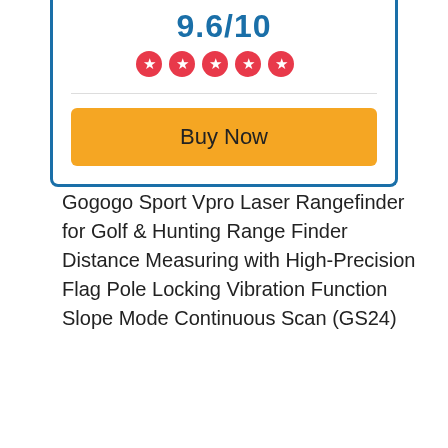9.6/10
[Figure (other): Five red circular star rating icons]
Buy Now
Gogogo Sport Vpro Laser Rangefinder for Golf & Hunting Range Finder Distance Measuring with High-Precision Flag Pole Locking Vibration Function  Slope Mode Continuous Scan (GS24)
| Color | White |
| Prime Status | Yes |
| Warranty | 1-year warranty |
| Brand | Gogogo Sport Vpro |